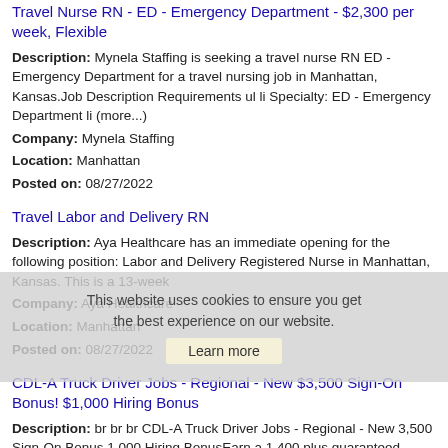Travel Nurse RN - ED - Emergency Department - $2,300 per week, Flexible
Description: Mynela Staffing is seeking a travel nurse RN ED - Emergency Department for a travel nursing job in Manhattan, Kansas.Job Description Requirements ul li Specialty: ED - Emergency Department li (more...)
Company: Mynela Staffing
Location: Manhattan
Posted on: 08/27/2022
Travel Labor and Delivery RN
Description: Aya Healthcare has an immediate opening for the following position: Labor and Delivery Registered Nurse in Manhattan, Kansas. This is a 13-week
Company: Aya Healthcare
Location: Manhattan
Posted on: 08/27/2022
CDL-A Truck Driver Jobs - Regional - New $3,500 Sign-On Bonus! $1,000 Hiring Bonus
Description: br br br CDL-A Truck Driver Jobs - Regional - New 3,500 Sign-On Bonus 1,000 Hiring BonusEarn a 1,400 plus guaranteed every week while getting More Home TimeApply Online or Call 920-521-7556 (more...)